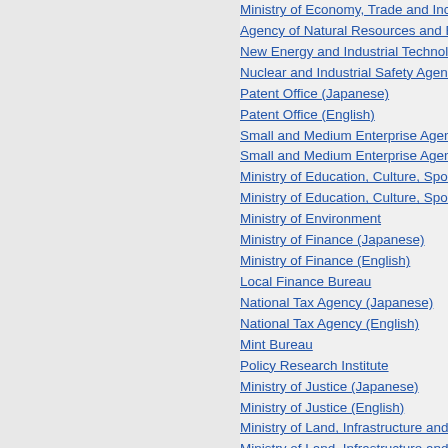Ministry of Economy, Trade and Industry
Agency of Natural Resources and Energy
New Energy and Industrial Technology
Nuclear and Industrial Safety Agency
Patent Office (Japanese)
Patent Office (English)
Small and Medium Enterprise Agency
Small and Medium Enterprise Agency
Ministry of Education, Culture, Sports
Ministry of Education, Culture, Sports
Ministry of Environment
Ministry of Finance (Japanese)
Ministry of Finance (English)
Local Finance Bureau
National Tax Agency (Japanese)
National Tax Agency (English)
Mint Bureau
Policy Research Institute
Ministry of Justice (Japanese)
Ministry of Justice (English)
Ministry of Land, Infrastructure and
Ministry of Land, Infrastructure and
Ministry of Internal Affairs and Communications
Ministry of Internal Affairs and Communications
Administrative Management Bureau
Information & Telecommunications